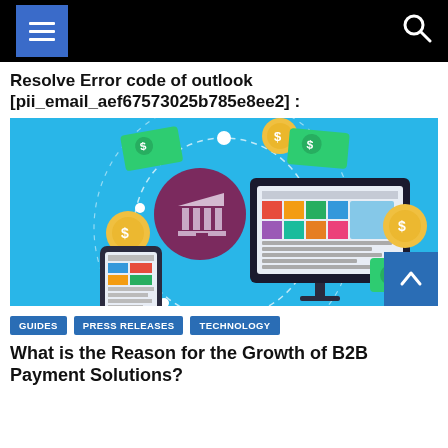Resolve Error code of outlook [pii_email_aef67573025b785e8ee2] :
[Figure (illustration): Digital banking and B2B payment illustration showing a computer monitor with a colorful dashboard, a hand holding a mobile phone, floating dollar bills and coins, and a bank building icon on a blue background.]
GUIDES
PRESS RELEASES
TECHNOLOGY
What is the Reason for the Growth of B2B Payment Solutions?